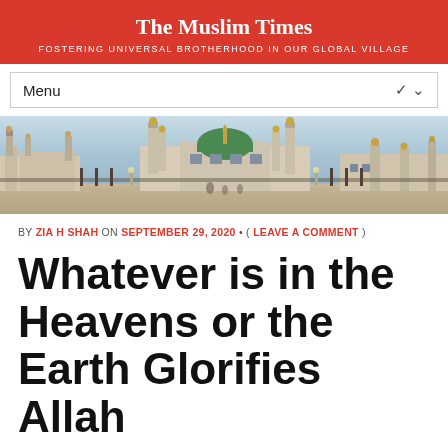The Muslim Times
FOSTERING UNIVERSAL BROTHERHOOD IN OUR GLOBAL VILLAGE
Menu
[Figure (photo): Panoramic photograph of Al-Masjid an-Nabawi (the Prophet's Mosque) in Medina, showing the green dome, minarets, and surrounding courtyard at dusk]
BY ZIA H SHAH ON SEPTEMBER 29, 2020 • ( LEAVE A COMMENT )
Whatever is in the Heavens or the Earth Glorifies Allah